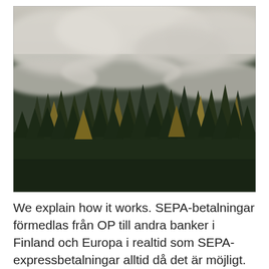[Figure (photo): Aerial photograph of a dense forest of conifer trees partially covered by low-hanging mist and clouds, with autumn foliage visible among the dark green trees.]
We explain how it works. SEPA-betalningar förmedlas från OP till andra banker i Finland och Europa i realtid som SEPA-expressbetalningar alltid då det är möjligt. Realtidsbetalningar på. Om SEPA-